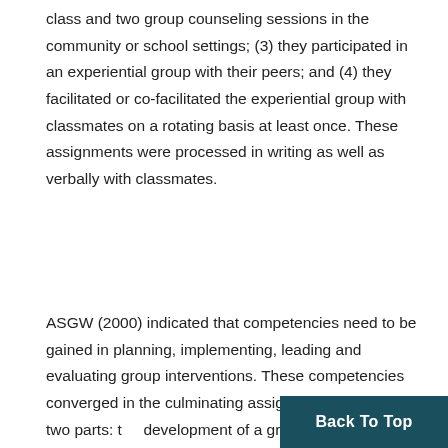class and two group counseling sessions in the community or school settings; (3) they participated in an experiential group with their peers; and (4) they facilitated or co-facilitated the experiential group with classmates on a rotating basis at least once. These assignments were processed in writing as well as verbally with classmates.
ASGW (2000) indicated that competencies need to be gained in planning, implementing, leading and evaluating group interventions. These competencies converged in the culminating assignment divided into two parts: the development of a group counseling proposal